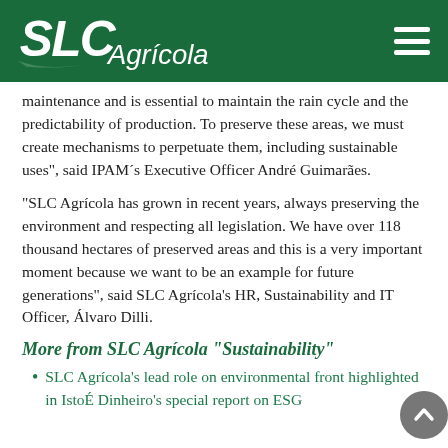SLC Agrícola (logo and navigation header)
maintenance and is essential to maintain the rain cycle and the predictability of production. To preserve these areas, we must create mechanisms to perpetuate them, including sustainable uses", said IPAM´s Executive Officer André Guimarães.
"SLC Agrícola has grown in recent years, always preserving the environment and respecting all legislation. We have over 118 thousand hectares of preserved areas and this is a very important moment because we want to be an example for future generations", said SLC Agrícola's HR, Sustainability and IT Officer, Álvaro Dilli.
More from SLC Agrícola "Sustainability"
SLC Agrícola's lead role on environmental front highlighted in IstoÉ Dinheiro's special report on ESG